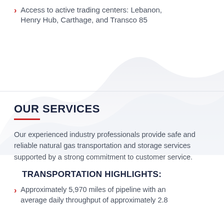Access to active trading centers: Lebanon, Henry Hub, Carthage, and Transco 85
OUR SERVICES
Our experienced industry professionals provide safe and reliable natural gas transportation and storage services supported by a strong commitment to customer service.
TRANSPORTATION HIGHLIGHTS:
Approximately 5,970 miles of pipeline with an average daily throughput of approximately 2.8